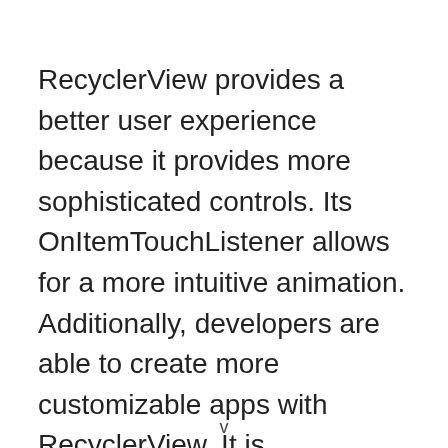RecyclerView provides a better user experience because it provides more sophisticated controls. Its OnItemTouchListener allows for a more intuitive animation. Additionally, developers are able to create more customizable apps with RecyclerView. It is recommended to use RecyclerView when developing applications that contain large data sets. And while
v